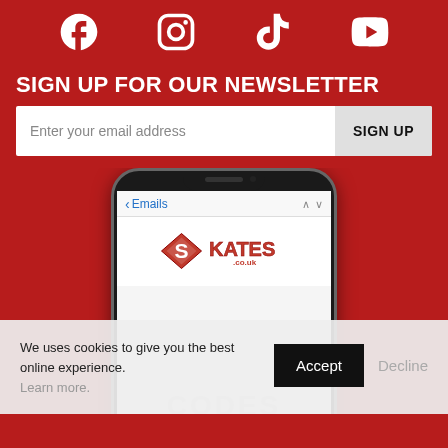[Figure (illustration): Social media icons for Facebook, Instagram, TikTok, and YouTube displayed in white on red background]
SIGN UP FOR OUR NEWSLETTER
Enter your email address   SIGN UP
[Figure (screenshot): Smartphone showing Skates.co.uk email newsletter on screen, with a cookie consent popup overlay at the bottom showing Accept and Decline buttons and text 'We uses cookies to give you the best online experience. Learn more.']